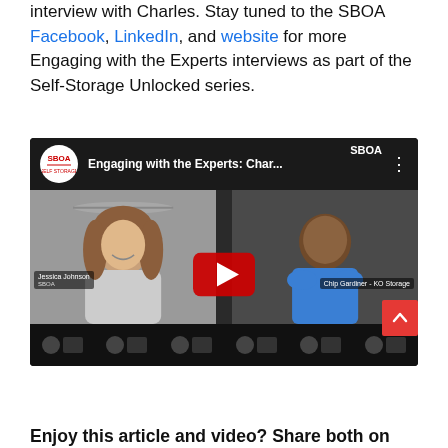interview with Charles. Stay tuned to the SBOA Facebook, LinkedIn, and website for more Engaging with the Experts interviews as part of the Self-Storage Unlocked series.
[Figure (screenshot): YouTube video embed thumbnail showing SBOA 'Engaging with the Experts: Char...' video. Two participants visible: Jessica Johnson on the left and Chip Gardiner - KO Storage on the right. A red YouTube play button is centered over the image. The SBOA logo and channel name appear in the header bar.]
Enjoy this article and video? Share both on